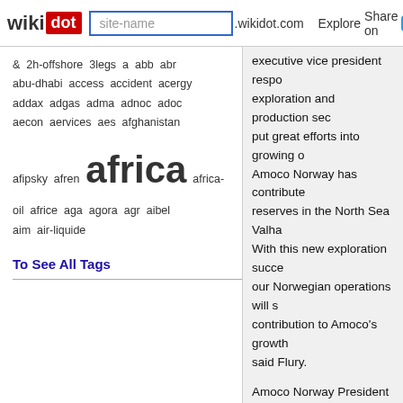wikidot | site-name | .wikidot.com | Explore | Share on [Twitter]
& 2h-offshore 3legs a abb abr abu-dhabi access accident acergy addax adgas adma adnoc adoc aecon aervices aes afghanistan
afipsky afren africa africa-oil africe aga agora agr aibel aim air-liquide
To See All Tags
executive vice president responsible for exploration and production sector...
Amoco Norway President Ande... very encouraged by receiving a... 15th license round. We will wor... additional opportunities in the li... said Morland.
This first well in the 15th round... Heidrun, in an area where seve... to bring new volumes of natura... vertical depth of 4,198 meters (... The well encountered more tha... Jurassic and Cretaceous ages.... produced at rates of 862 Sm3 (... a 38 mm (1.5 inch) choke, and... condensate per day through a... of oil with 221,000 Sm3 (7.8 mi...
Approximately 300 meters (984...